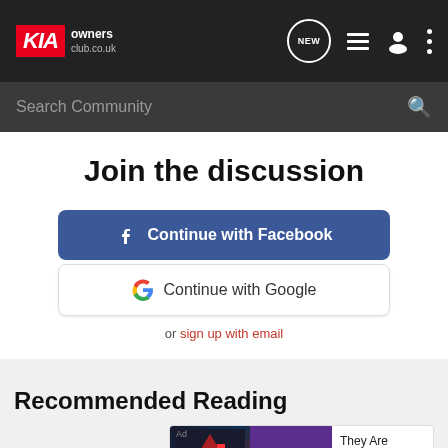KIA owners club.co.uk
Search Community
Join the discussion
Continue with Facebook
Continue with Google
or sign up with email
Recommended Reading
[Figure (screenshot): Advertisement banner showing 'They Are Coming!' with Download button, featuring game imagery and Follic app logo, alongside partial 'Speee' text in red]